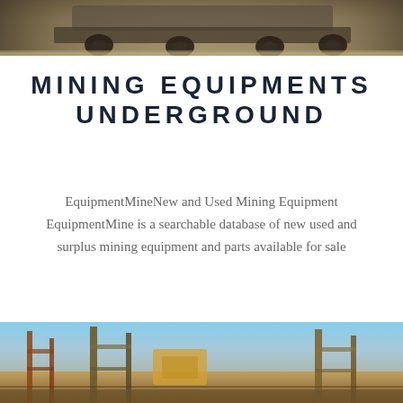[Figure (photo): Top portion of a mining truck or heavy equipment vehicle on a dirt road, partial view showing the undercarriage and wheels]
MINING EQUIPMENTS UNDERGROUND
EquipmentMineNew and Used Mining Equipment EquipmentMine is a searchable database of new used and surplus mining equipment and parts available for sale
[Figure (photo): Bottom portion showing underground or outdoor mining site with scaffolding, structural beams, and equipment against a blue sky background]